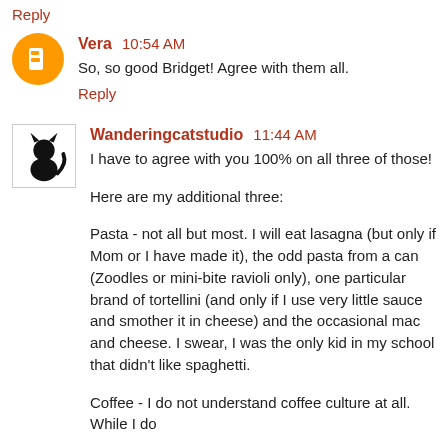Reply
Vera 10:54 AM
So, so good Bridget! Agree with them all.
Reply
Wanderingcatstudio 11:44 AM
I have to agree with you 100% on all three of those!
Here are my additional three:
Pasta - not all but most. I will eat lasagna (but only if Mom or I have made it), the odd pasta from a can (Zoodles or mini-bite ravioli only), one particular brand of tortellini (and only if I use very little sauce and smother it in cheese) and the occasional mac and cheese. I swear, I was the only kid in my school that didn't like spaghetti.
Coffee - I do not understand coffee culture at all. While I do